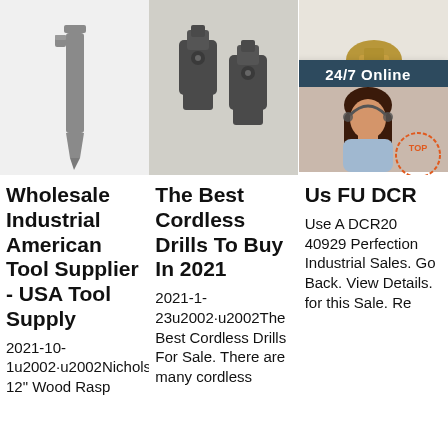[Figure (photo): Metal tool - industrial chisel or punch on white background]
[Figure (photo): Two dark metal industrial clamp or tool parts on gray background]
[Figure (photo): Brass fitting or connector on white background, with 24/7 Online customer service chat overlay showing a woman with headset, click here for free chat and QUOTATION button]
Wholesale Industrial American Tool Supplier - USA Tool Supply
2021-10-1u2002·u2002Nicholson 12" Wood Rasp
The Best Cordless Drills To Buy In 2021
2021-1-23u2002·u2002The Best Cordless Drills For Sale. There are many cordless
Us FU DCR
Use A DCR20 40929 Perfection Industrial Sales. Go Back. View Details. for this Sale. Re